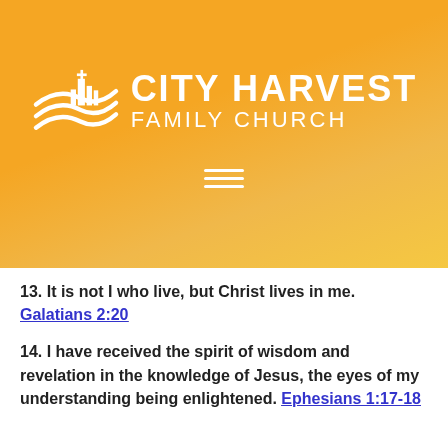[Figure (logo): City Harvest Family Church logo with stylized wheat/wave design and cross, white on orange background, with hamburger menu icon below]
13. It is not I who live, but Christ lives in me. Galatians 2:20
14. I have received the spirit of wisdom and revelation in the knowledge of Jesus, the eyes of my understanding being enlightened. Ephesians 1:17-18